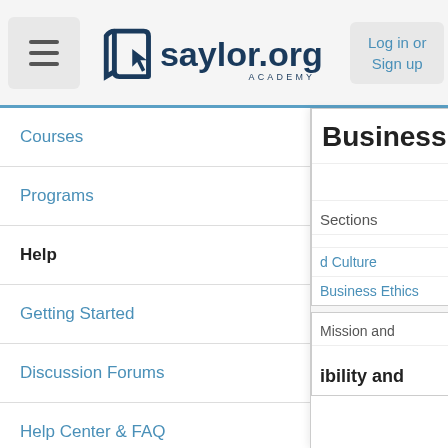saylor.org ACADEMY – Log in or Sign up
Courses
Programs
Help
Getting Started
Discussion Forums
Help Center & FAQ
🎓 BUS101: Introduction to Business
Sections ▶
Business
Sections
d Culture
Business Ethics
Mission and
ibility and